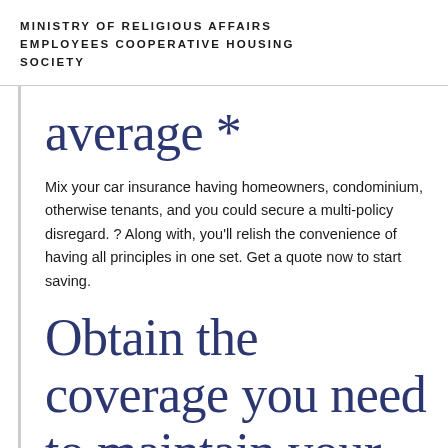MINISTRY OF RELIGIOUS AFFAIRS EMPLOYEES COOPERATIVE HOUSING SOCIETY
average *
Mix your car insurance having homeowners, condominium, otherwise tenants, and you could secure a multi-policy disregard. ? Along with, you'll relish the convenience of having all principles in one set. Get a quote now to start saving.
Obtain the coverage you need to maintain your